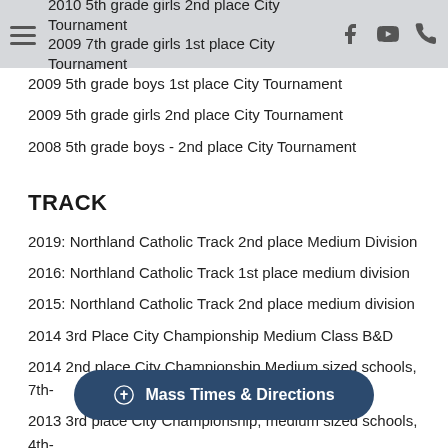2010 5th grade girls 2nd place City Tournament | 2009 7th grade girls 1st place City Tournament
2009 5th grade boys 1st place City Tournament
2009 5th grade girls 2nd place City Tournament
2008 5th grade boys - 2nd place City Tournament
TRACK
2019: Northland Catholic Track 2nd place Medium Division
2016: Northland Catholic Track 1st place medium division
2015: Northland Catholic Track 2nd place medium division
2014 3rd Place City Championship Medium Class B&D
2014 2nd place City Championship Medium sized schools, 7th-
2013 3rd place City Championship, medium sized schools, 4th-
2012 3rd place City Championship female combined
2012 1st place City Championship …h-8
2012 1st place City Championship …
2011 3rd place City Championship medium class